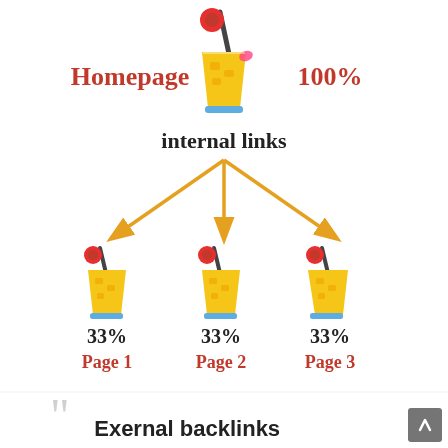[Figure (infographic): Link equity / PageRank juice infographic: a Homepage glass icon at 100% distributes link equity via internal links (golden arrows) to three sub-pages (Page 1, Page 2, Page 3) each receiving 33%. Bottom section shows a quote icon and heading 'Exernal backlinks' with a grey scroll-to-top button.]